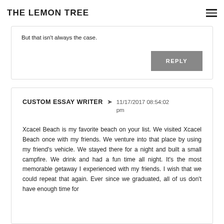THE LEMON TREE
But that isn't always the case.
REPLY
CUSTOM ESSAY WRITER → 11/17/2017 08:54:02 pm
Xcacel Beach is my favorite beach on your list. We visited Xcacel Beach once with my friends. We venture into that place by using my friend's vehicle. We stayed there for a night and built a small campfire. We drink and had a fun time all night. It's the most memorable getaway I experienced with my friends. I wish that we could repeat that again. Ever since we graduated, all of us don't have enough time for